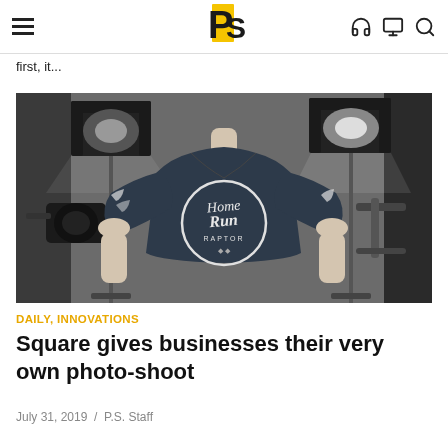PS [logo with headphones, monitor, search icons]
first, it...
[Figure (photo): A mannequin wearing a dark navy blue v-neck long sleeve shirt with 'Home Run' graphic print, surrounded by professional studio photography lighting equipment on stands against a grey background.]
DAILY, INNOVATIONS
Square gives businesses their very own photo-shoot
July 31, 2019  /  P.S. Staff